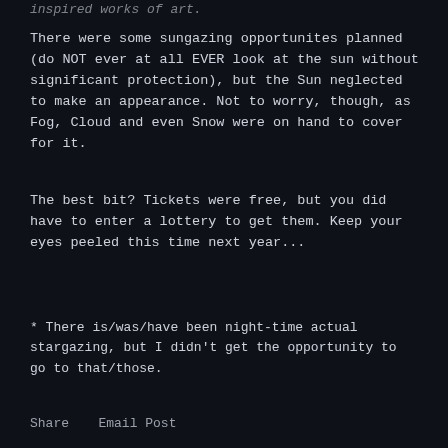inspired works of art.
There were some sungazing opportunites planned (do NOT ever at all EVER look at the sun without significant protection), but the Sun neglected to make an appearance. Not to worry, though, as Fog, Cloud and even Snow were on hand to cover for it.
The best bit? Tickets were free, but you did have to enter a lottery to get them. Keep your eyes peeled this time next year...
* There is/was/have been night-time actual stargazing, but I didn't get the opportunity to go to that/those.
Share   Email Post